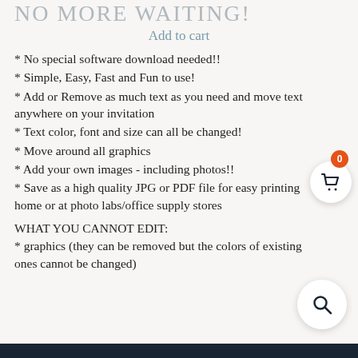NO MORE WAITING!
Add to cart
* No special software download needed!!
* Simple, Easy, Fast and Fun to use!
* Add or Remove as much text as you need and move text anywhere on your invitation
* Text color, font and size can all be changed!
* Move around all graphics
* Add your own images - including photos!!
* Save as a high quality JPG or PDF file for easy printing home or at photo labs/office supply stores
WHAT YOU CANNOT EDIT:
* graphics (they can be removed but the colors of existing ones cannot be changed)